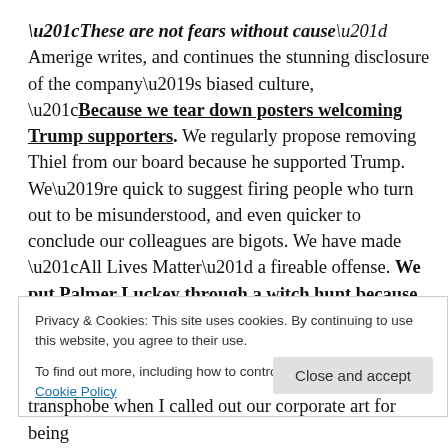“These are not fears without cause” Amerige writes, and continues the stunning disclosure of the company’s biased culture, “Because we tear down posters welcoming Trump supporters. We regularly propose removing Thiel from our board because he supported Trump. We’re quick to suggest firing people who turn out to be misunderstood, and even quicker to conclude our colleagues are bigots. We have made “All Lives Matter” a fireable offense. We put Palmer Luckey through a witch hunt because he paid for anti-Hillary ads. We write
Privacy & Cookies: This site uses cookies. By continuing to use this website, you agree to their use. To find out more, including how to control cookies, see here: Cookie Policy
transphobe when I called out our corporate art for being